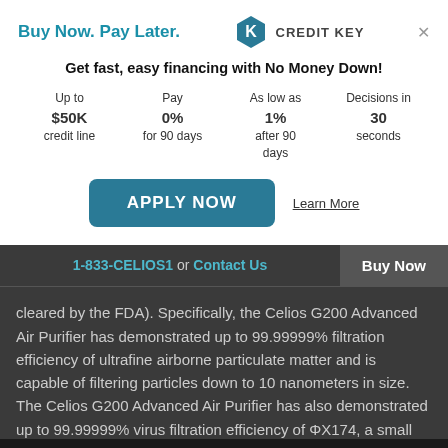Buy Now. Pay Later.
[Figure (logo): Credit Key logo with hexagonal icon and text 'CREDIT KEY']
Get fast, easy financing with No Money Down!
Up to $50K credit line | Pay 0% for 90 days | As low as 1% after 90 days | Decisions in 30 seconds
APPLY NOW
Learn More
1-833-CELIOS1 or Contact Us
Buy Now
cleared by the FDA). Specifically, the Celios G200 Advanced Air Purifier has demonstrated up to 99.99999% filtration efficiency of ultrafine airborne particulate matter and is capable of filtering particles down to 10 nanometers in size. The Celios G200 Advanced Air Purifier has also demonstrated up to 99.99999% virus filtration efficiency of ΦX174, a small bacteriophage virus with a maximum diameter of ~32 nanometers.
The G200 Advanced Air Purifier is not intended to prevent or
3,000x more effective than HEPA standards. Learn more